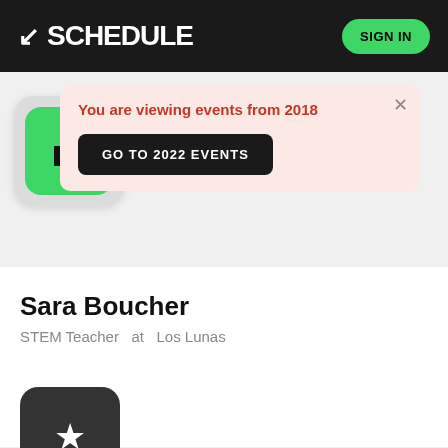K SCHEDULE  SIGN IN
You are viewing events from 2018
GO TO 2022 EVENTS
[Figure (logo): K Schedule app icon — green rounded square with white/black arrow pointing bottom-left]
Sara Boucher
STEM Teacher  at  Los Lunas
[Figure (other): Dark rounded square button with a white star icon]